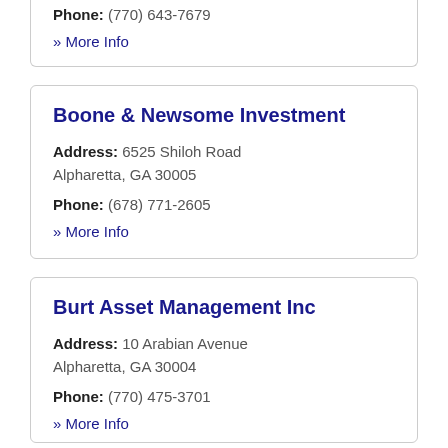Phone: (770) 643-7679
» More Info
Boone & Newsome Investment
Address: 6525 Shiloh Road Alpharetta, GA 30005
Phone: (678) 771-2605
» More Info
Burt Asset Management Inc
Address: 10 Arabian Avenue Alpharetta, GA 30004
Phone: (770) 475-3701
» More Info